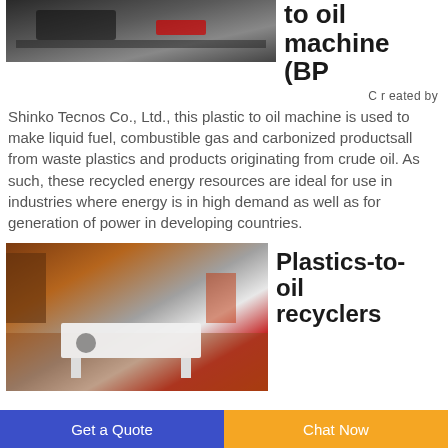[Figure (photo): Top portion of a plastic-to-oil machine, partially visible, dark industrial equipment]
to oil machine (BP
C r eated by
Shinko Tecnos Co., Ltd., this plastic to oil machine is used to make liquid fuel, combustible gas and carbonized productsall from waste plastics and products originating from crude oil. As such, these recycled energy resources are ideal for use in industries where energy is in high demand as well as for generation of power in developing countries.
[Figure (photo): Industrial warehouse floor with white flat equipment/table and various machinery and materials in background]
Plastics-to-oil recyclers
Get a Quote   Chat Now